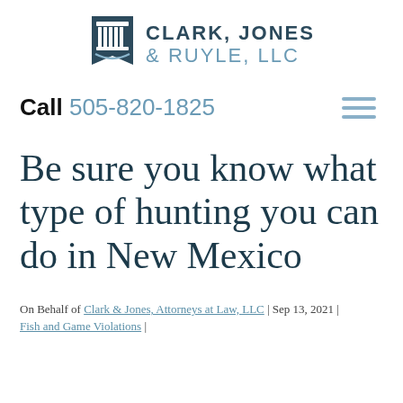[Figure (logo): Clark, Jones & Ruyle, LLC law firm logo with column/pillar icon and firm name in two-tone text]
Call 505-820-1825
Be sure you know what type of hunting you can do in New Mexico
On Behalf of Clark & Jones, Attorneys at Law, LLC | Sep 13, 2021 | Fish and Game Violations |